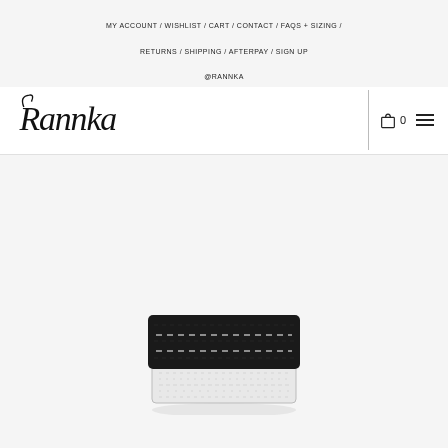MY ACCOUNT / WISHLIST / CART / CONTACT / FAQS + SIZING / RETURNS / SHIPPING / AFTERPAY / SIGN UP @RANNKA
[Figure (logo): Rannka cursive script logo in black]
[Figure (photo): A stacked leather cuff bracelet, black on top with white stitching details and white/light gray hammered metal on bottom, photographed on white/light gray background]